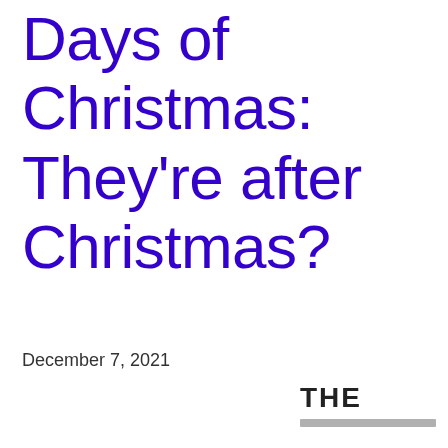Days of Christmas: They're after Christmas?
December 7, 2021
THE